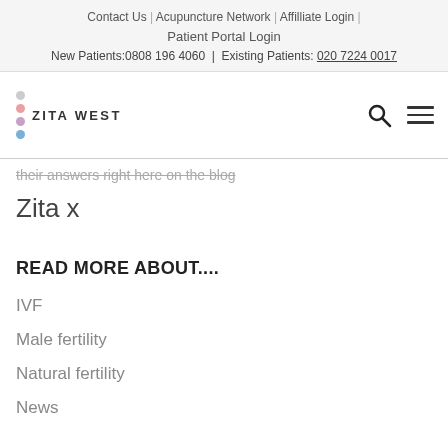Contact Us | Acupuncture Network | Affilliate Login | Patient Portal Login | New Patients: 0808 196 4060 | Existing Patients: 020 7224 0017
[Figure (logo): Zita West logo with colored dots and text ZITA WEST, plus search and hamburger menu icons]
...their answers right here on the blog
Zita x
READ MORE ABOUT....
IVF
Male fertility
Natural fertility
News